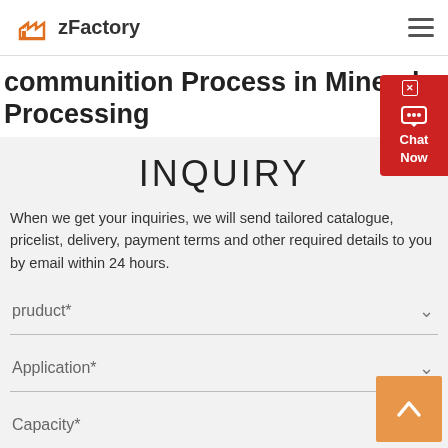zFactory
communition Process in Mineral Processing
INQUIRY
When we get your inquiries, we will send tailored catalogue, pricelist, delivery, payment terms and other required details to you by email within 24 hours.
pruduct*
Application*
Capacity*